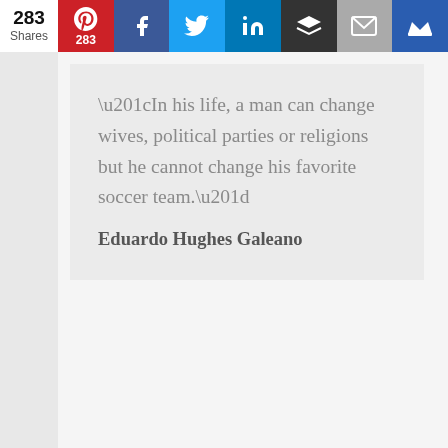283 Shares | Social share bar with Pinterest (283), Facebook, Twitter, LinkedIn, Buffer, Email, Crown
“In his life, a man can change wives, political parties or religions but he cannot change his favorite soccer team.” Eduardo Hughes Galeano